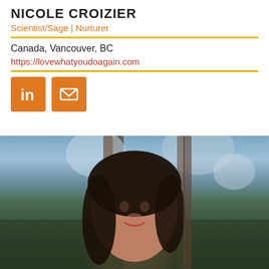NICOLE CROIZIER
Scientist/Sage | Nurturer
Canada, Vancouver, BC
https://lovewhatyoudoagain.com
[Figure (illustration): LinkedIn icon (orange square with white 'in' logo) and email icon (orange square with white envelope symbol)]
[Figure (photo): Professional headshot of Nicole Croizier, a woman with long dark hair, smiling, photographed outdoors with trees in the background]